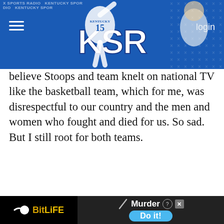KSR — Kentucky Sports Radio header banner with navigation
believe Stoops and team knelt on national TV like the basketball team, which for me, was disrespectful to our country and the men and women who fought and died for us. So sad. But I still root for both teams.
catscratch34
8/24/22, 2:03 AM

Topside Correct me if I'm I believe 5 or 6 of the team members had family that